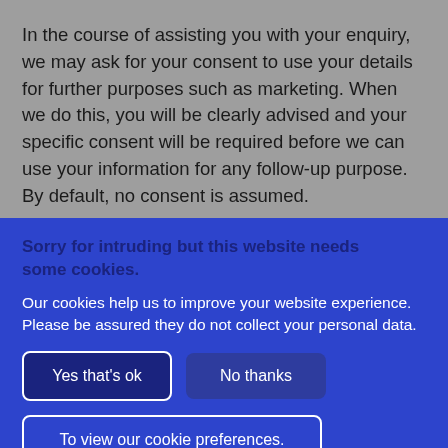In the course of assisting you with your enquiry, we may ask for your consent to use your details for further purposes such as marketing. When we do this, you will be clearly advised and your specific consent will be required before we can use your information for any follow-up purpose. By default, no consent is assumed.
Sorry for intruding but this website needs some cookies.
Our cookies help us to improve your website experience. Please be assured they do not collect your personal data.
Yes that's ok
No thanks
To view our cookie preferences.